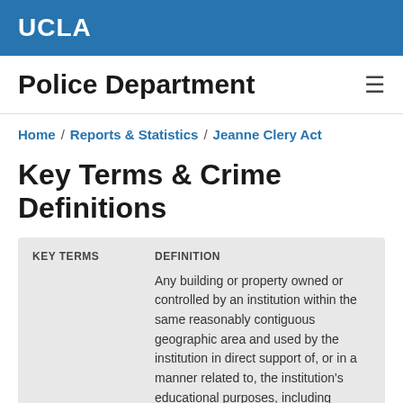UCLA
Police Department
Home / Reports & Statistics / Jeanne Clery Act
Key Terms & Crime Definitions
| KEY TERMS | DEFINITION |
| --- | --- |
|  | Any building or property owned or controlled by an institution within the same reasonably contiguous geographic area and used by the institution in direct support of, or in a manner related to, the institution's educational purposes, including residence halls; and |